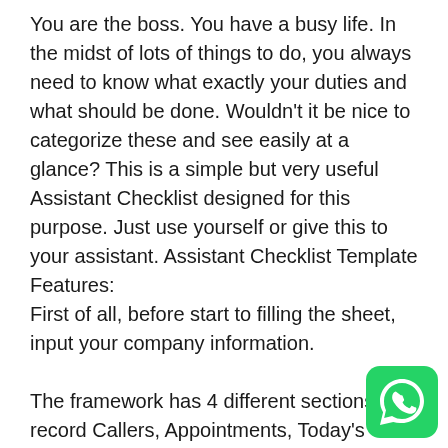You are the boss. You have a busy life. In the midst of lots of things to do, you always need to know what exactly your duties and what should be done. Wouldn't it be nice to categorize these and see easily at a glance? This is a simple but very useful Assistant Checklist designed for this purpose. Just use yourself or give this to your assistant. Assistant Checklist Template Features:
First of all, before start to filling the sheet, input your company information.

The framework has 4 different sections to record Callers, Appointments, Today's To-Do and Important Reminders for the company. For Callers and Appointments type down the information like time, name-surname, phone number and the location of appointment.
The other tables for the things to do and reminders have an option to switch the dropdown Done, Not Done or Pending regarding the status of jobs.
[Figure (other): WhatsApp contact button icon — green rounded square with white WhatsApp phone handset logo]